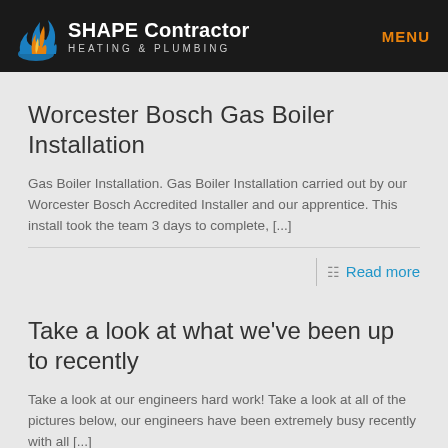SHAPE Contractor HEATING & PLUMBING | MENU
Worcester Bosch Gas Boiler Installation
Gas Boiler Installation. Gas Boiler Installation carried out by our Worcester Bosch Accredited Installer and our apprentice. This install took the team 3 days to complete, [...]
Read more
Take a look at what we've been up to recently
Take a look at our engineers hard work! Take a look at all of the pictures below, our engineers have been extremely busy recently with all [...]